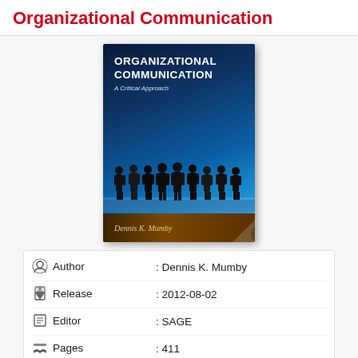Organizational Communication
[Figure (photo): Book cover of 'Organizational Communication: A Critical Approach' by Dennis K. Mumby, showing silhouettes of people standing in front of a city skyline with a blue tinted background.]
| Author | Dennis K. Mumby |
| Release | 2012-08-02 |
| Editor | SAGE |
| Pages | 411 |
| ISBN | 9781412963152 |